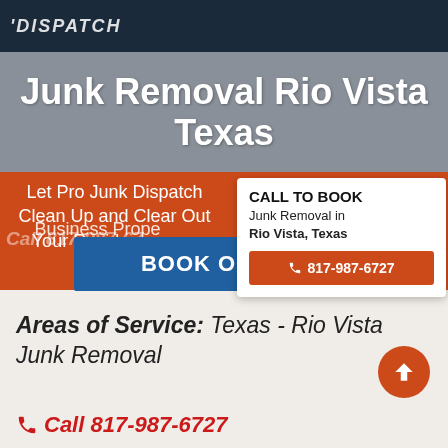DISPATCH
Junk Removal Rio Vista Texas
Let Pro Junk Dispatch Clean Up and Clear Out Your Residential and Business Properties
Call 817-987-6727
CALL TO BOOK
Junk Removal in
Rio Vista, Texas
817-987-6727
BOOK ONLINE
Areas of Service: Texas - Rio Vista Junk Removal
Call 817-987-6727